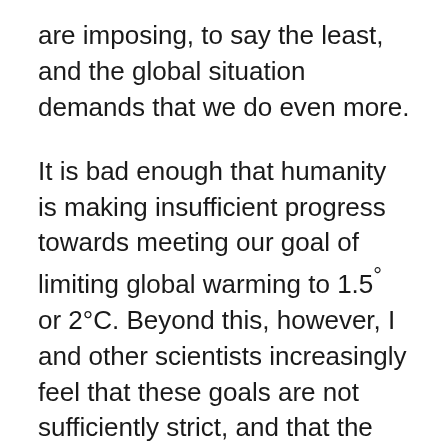are imposing, to say the least, and the global situation demands that we do even more.
It is bad enough that humanity is making insufficient progress towards meeting our goal of limiting global warming to 1.5° or 2°C. Beyond this, however, I and other scientists increasingly feel that these goals are not sufficiently strict, and that the scenarios we have developed for meeting them are not realistic.
In 2020, climate impacts became impossible to ignore. Examples included fires in Australia and California, and…